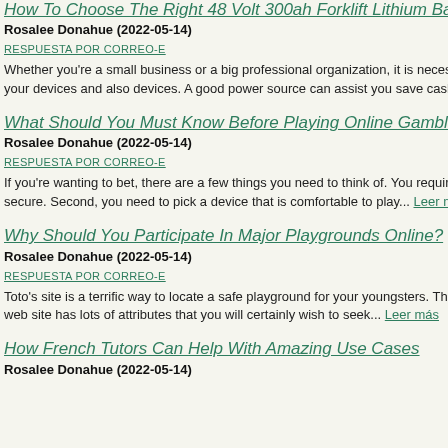How To Choose The Right 48 Volt 300ah Forklift Lithium Battery?
Rosalee Donahue (2022-05-14)
RESPUESTA POR CORREO-E
Whether you're a small business or a big professional organization, it is necessary to have your devices and also devices. A good power source can assist you save cash... Leer más
What Should You Must Know Before Playing Online Gambling Si
Rosalee Donahue (2022-05-14)
RESPUESTA POR CORREO-E
If you're wanting to bet, there are a few things you need to think of. You require to choose a secure. Second, you need to pick a device that is comfortable to play... Leer más
Why Should You Participate In Major Playgrounds Online?
Rosalee Donahue (2022-05-14)
RESPUESTA POR CORREO-E
Toto's site is a terrific way to locate a safe playground for your youngsters. The site uses a web site has lots of attributes that you will certainly wish to seek... Leer más
How French Tutors Can Help With Amazing Use Cases
Rosalee Donahue (2022-05-14)